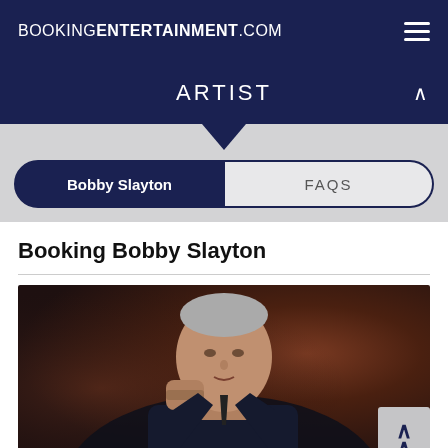BOOKINENTERTAINMENT.COM
ARTIST
Bobby Slayton | FAQS
Booking Bobby Slayton
[Figure (photo): Professional photo of Bobby Slayton, a man with short grey hair wearing a dark navy suit jacket and tie, posed with his fist raised near his chin against a dark brownish mottled background.]